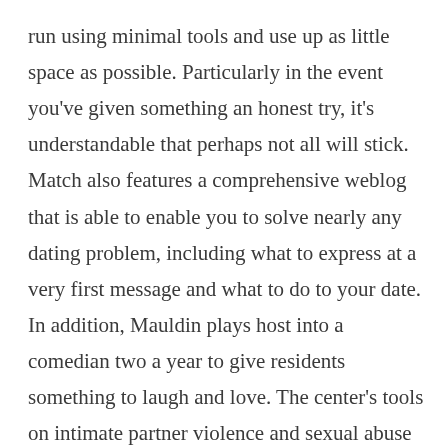run using minimal tools and use up as little space as possible. Particularly in the event you've given something an honest try, it's understandable that perhaps not all will stick. Match also features a comprehensive weblog that is able to enable you to solve nearly any dating problem, including what to express at a very first message and what to do to your date. In addition, Mauldin plays host into a comedian two a year to give residents something to laugh and love. The center's tools on intimate partner violence and sexual abuse fortify the player's interviewing skills, story telling ability, and injury knowledge, so he or she can ethically, competently, and compassionately discuss dreadful occurrences.